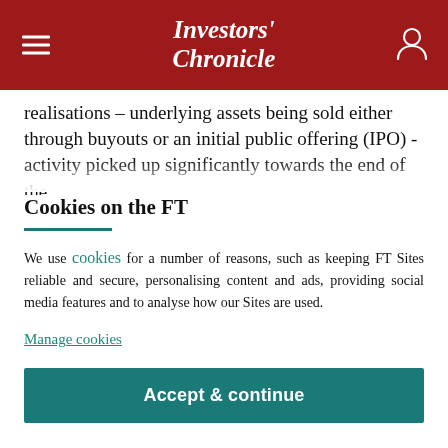Investors' Chronicle
realisations – underlying assets being sold either through buyouts or an initial public offering (IPO) - activity picked up significantly towards the end of the
Cookies on the FT
We use cookies for a number of reasons, such as keeping FT Sites reliable and secure, personalising content and ads, providing social media features and to analyse how our Sites are used.
Manage cookies
Accept & continue